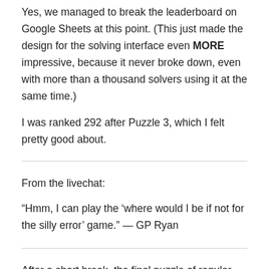them back in the top 10.
Yes, we managed to break the leaderboard on Google Sheets at this point. (This just made the design for the solving interface even MORE impressive, because it never broke down, even with more than a thousand solvers using it at the same time.)
I was ranked 292 after Puzzle 3, which I felt pretty good about.
From the livechat:
“Hmm, I can play the ‘where would I be if not for the silly error’ game.” — GP Ryan
After a short break, the final puzzle of regular tournament